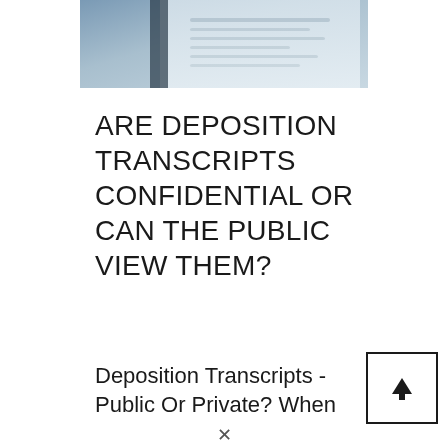[Figure (photo): Partial view of an open book or document with blurred text, shot from above at an angle, blue-gray tones]
ARE DEPOSITION TRANSCRIPTS CONFIDENTIAL OR CAN THE PUBLIC VIEW THEM?
Deposition Transcripts - Public Or Private? When